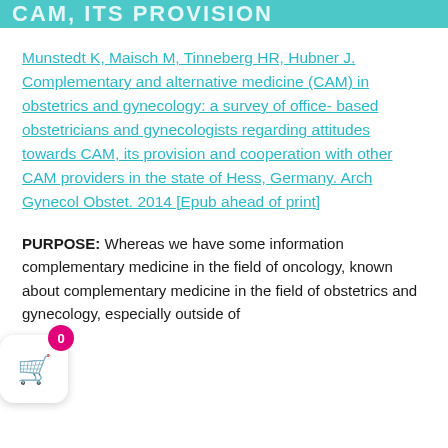CAM, ITS PROVISION
Munstedt K, Maisch M, Tinneberg HR, Hubner J. Complementary and alternative medicine (CAM) in obstetrics and gynecology: a survey of office-based obstetricians and gynecologists regarding attitudes towards CAM, its provision and cooperation with other CAM providers in the state of Hess, Germany. Arch Gynecol Obstet. 2014 [Epub ahead of print]
PURPOSE: Whereas we have some information complementary medicine in the field of oncology, known about complementary medicine in the field of obstetrics and gynecology, especially outside of